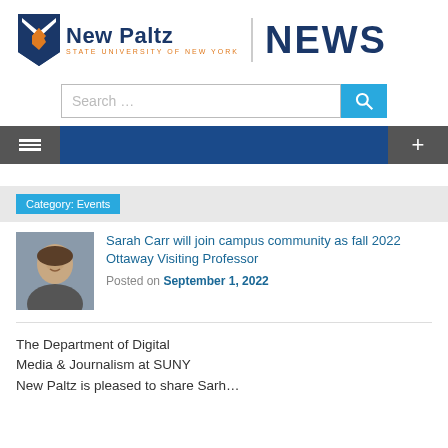[Figure (logo): SUNY New Paltz NEWS logo with shield/chevron icon]
[Figure (screenshot): Search bar input with search button]
[Figure (screenshot): Navigation bar with hamburger menu and plus icon]
Category: Events
[Figure (photo): Headshot of Sarah Carr, woman smiling outdoors]
Sarah Carr will join campus community as fall 2022 Ottaway Visiting Professor
Posted on September 1, 2022
The Department of Digital Media & Journalism at SUNY New Paltz is pleased to share Sarah